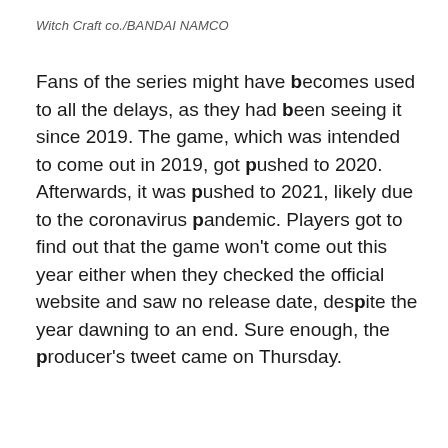Witch Craft co./BANDAI NAMCO
Fans of the series might have becomes used to all the delays, as they had been seeing it since 2019. The game, which was intended to come out in 2019, got pushed to 2020. Afterwards, it was pushed to 2021, likely due to the coronavirus pandemic. Players got to find out that the game won't come out this year either when they checked the official website and saw no release date, despite the year dawning to an end. Sure enough, the producer's tweet came on Thursday.